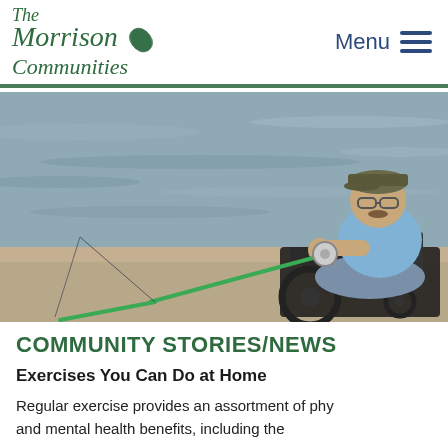The Morrison Communities — Menu
[Figure (photo): An elderly man in a wheelchair fishing at the edge of a lake or river, holding a fishing rod with a reel, wearing a blue polo shirt, jeans, and a cap with glasses.]
COMMUNITY STORIES/NEWS
Exercises You Can Do at Home
Regular exercise provides an assortment of phy and mental health benefits, including the